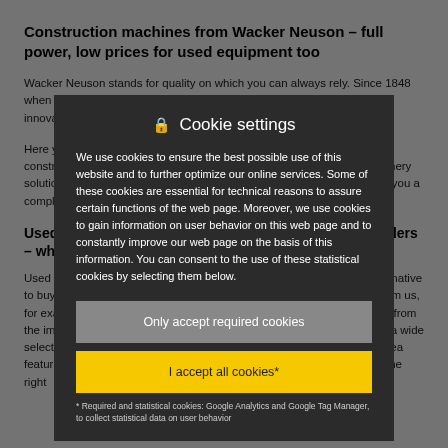Construction machines from Wacker Neuson – full power, low prices for used equipment too
Wacker Neuson stands for quality on which you can always rely. Since 1848 when the Wacker forge was first founded, we have been striving for innovations at the highest possible level.
Here you will find the entire range of new and used Wacker Neuson construction machines – whether you are looking for construction machinery solutions for many application areas or for just a single project. We offer you a complete package of machine knowledge and service.
Used tracked excavators, mini-excavators or wheel loaders – what do you need?
Used construction machines and equipment can be a cost-effective alternative to buying new equipment. When you purchase pre-owned equipment from us, for example, you not only benefit from significantly lower prices, but also from the immediate availability of proven reliability and quality. You also have a wide selection of construction machines and equipment, because our used area features the entire variety of the Wacker Neuson product range. Select the right
[Figure (screenshot): Cookie settings modal dialog overlay on Wacker Neuson website. Dark background modal with title 'Cookie settings' and lock icon. Body text describes cookie usage. Two buttons: grey 'Only accept required cookies' and yellow 'I accept all cookies*'. Footnote explains required and statistical cookies including Google Analytics and Google Tag Manager.]